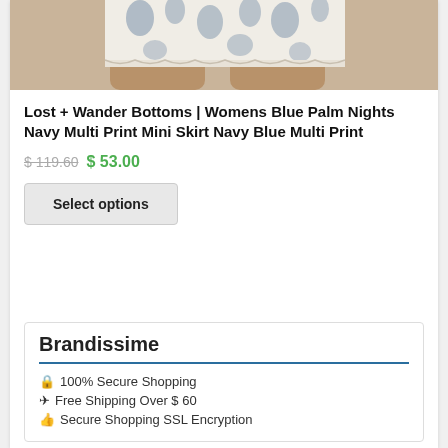[Figure (photo): Product photo showing legs wearing a white/navy blue floral print mini skirt with crochet trim hem]
Lost + Wander Bottoms | Womens Blue Palm Nights Navy Multi Print Mini Skirt Navy Blue Multi Print
$ 119.60  $ 53.00
Select options
Brandissime
100% Secure Shopping
Free Shipping Over $ 60
Secure Shopping SSL Encryption